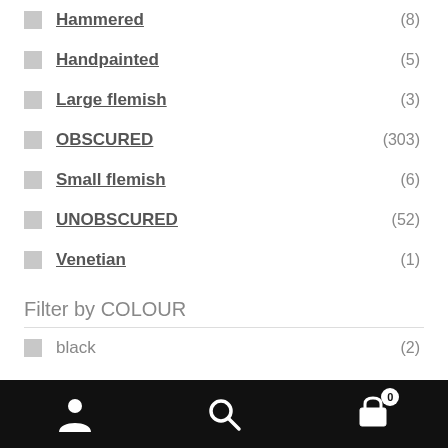Hammered (8)
Handpainted (5)
Large flemish (3)
OBSCURED (303)
Small flemish (6)
UNOBSCURED (52)
Venetian (1)
Filter by COLOUR
black (2)